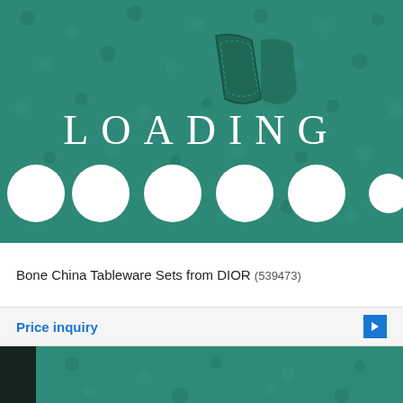[Figure (photo): Close-up of dark teal/green pebbled leather texture with a stitched leather tab/loop detail in the upper center. Overlaid with white spaced-out text reading 'L O A D I N G' and six white filled circles below it as a loading indicator.]
Bone China Tableware Sets from DIOR (539473)
Price inquiry
[Figure (photo): Partial view of another product image showing dark teal/green pebbled leather texture, partially visible at bottom of page.]